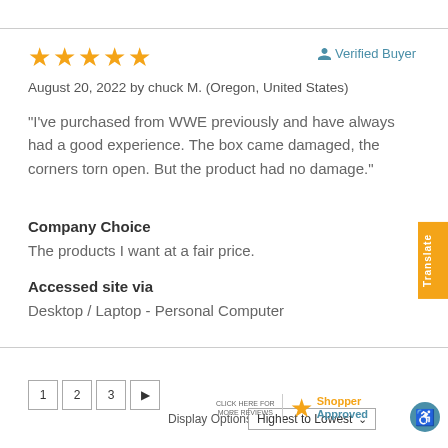[Figure (other): Five orange star rating icons]
Verified Buyer
August 20, 2022 by chuck M. (Oregon, United States)
“I’ve purchased from WWE previously and have always had a good experience. The box came damaged, the corners torn open. But the product had no damage.”
Company Choice
The products I want at a fair price.
Accessed site via
Desktop / Laptop - Personal Computer
1  2  3  ►
Display Options   Highest to Lowest ⌄
[Figure (logo): Shopper Approved logo with orange star and text]